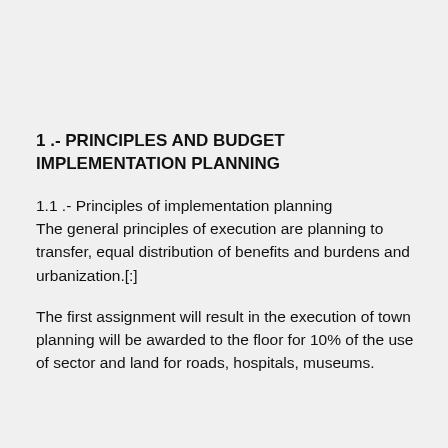1 .- PRINCIPLES AND BUDGET IMPLEMENTATION PLANNING
1.1 .- Principles of implementation planning
The general principles of execution are planning to transfer, equal distribution of benefits and burdens and urbanization.[:]
The first assignment will result in the execution of town planning will be awarded to the floor for 10% of the use of sector and land for roads, hospitals, museums.